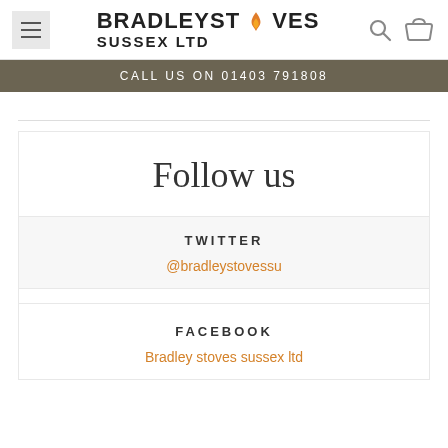BRADLEY STOVES SUSSEX LTD
CALL US ON 01403 791808
Follow us
TWITTER
@bradleystovessu
FACEBOOK
Bradley stoves sussex ltd